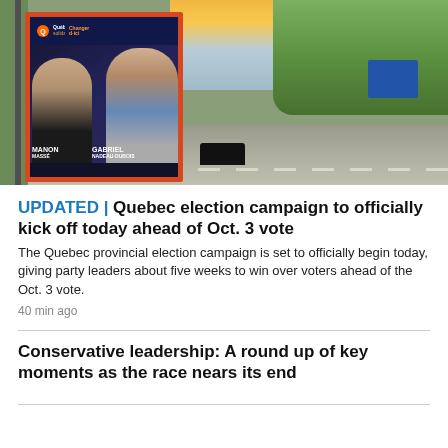[Figure (photo): Outdoor political billboard for Québec solidaire party featuring two candidates named Manon and Gabriel, situated at a street intersection with trees and road visible in background]
UPDATED | Quebec election campaign to officially kick off today ahead of Oct. 3 vote
The Quebec provincial election campaign is set to officially begin today, giving party leaders about five weeks to win over voters ahead of the Oct. 3 vote.
40 min ago
Conservative leadership: A round up of key moments as the race nears its end